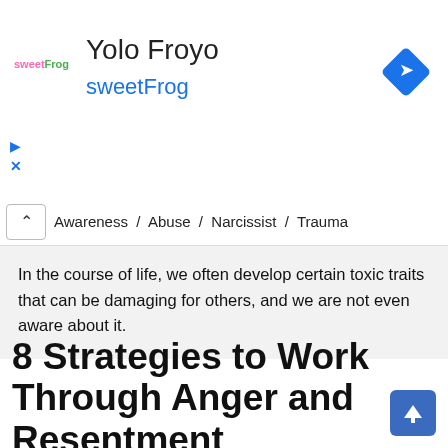[Figure (logo): sweetFrog Yolo Froyo ad banner with logo, navigation arrow icon on right, and play/close icons on left]
Awareness / Abuse / Narcissist / Trauma
In the course of life, we often develop certain toxic traits that can be damaging for others, and we are not even aware about it.
8 Strategies to Work Through Anger and Resentment